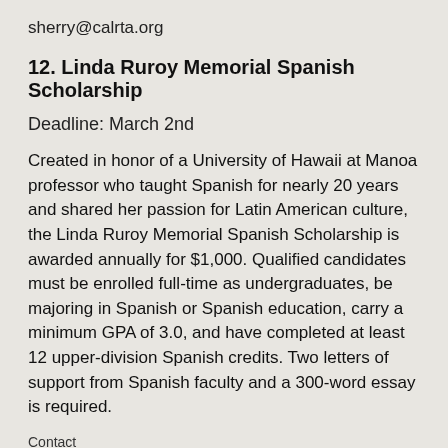sherry@calrta.org
12. Linda Ruroy Memorial Spanish Scholarship
Deadline: March 2nd
Created in honor of a University of Hawaii at Manoa professor who taught Spanish for nearly 20 years and shared her passion for Latin American culture, the Linda Ruroy Memorial Spanish Scholarship is awarded annually for $1,000. Qualified candidates must be enrolled full-time as undergraduates, be majoring in Spanish or Spanish education, carry a minimum GPA of 3.0, and have completed at least 12 upper-division Spanish credits. Two letters of support from Spanish faculty and a 300-word essay is required.
Contact
Linda Ruroy Memorial Spanish Scholarship